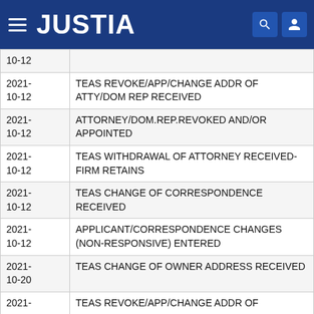JUSTIA
| Date | Event |
| --- | --- |
| 2021-10-12 |  |
| 2021-10-12 | TEAS REVOKE/APP/CHANGE ADDR OF ATTY/DOM REP RECEIVED |
| 2021-10-12 | ATTORNEY/DOM.REP.REVOKED AND/OR APPOINTED |
| 2021-10-12 | TEAS WITHDRAWAL OF ATTORNEY RECEIVED-FIRM RETAINS |
| 2021-10-12 | TEAS CHANGE OF CORRESPONDENCE RECEIVED |
| 2021-10-12 | APPLICANT/CORRESPONDENCE CHANGES (NON-RESPONSIVE) ENTERED |
| 2021-10-20 | TEAS CHANGE OF OWNER ADDRESS RECEIVED |
| 2021- | TEAS REVOKE/APP/CHANGE ADDR OF |